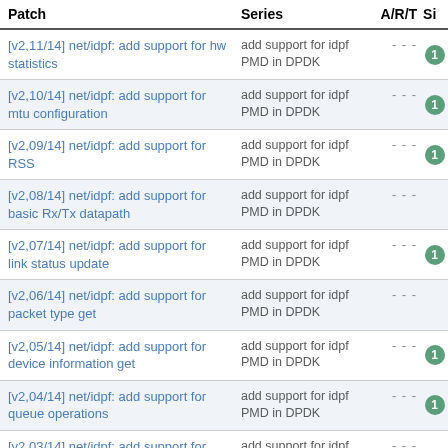| Patch | Series | A/R/T | Si |
| --- | --- | --- | --- |
| [v2,11/14] net/idpf: add support for hw statistics | add support for idpf PMD in DPDK | - - - | 1 |
| [v2,10/14] net/idpf: add support for mtu configuration | add support for idpf PMD in DPDK | - - - | 1 |
| [v2,09/14] net/idpf: add support for RSS | add support for idpf PMD in DPDK | - - - | 1 |
| [v2,08/14] net/idpf: add support for basic Rx/Tx datapath | add support for idpf PMD in DPDK | - - - | - |
| [v2,07/14] net/idpf: add support for link status update | add support for idpf PMD in DPDK | - - - | 1 |
| [v2,06/14] net/idpf: add support for packet type get | add support for idpf PMD in DPDK | - - - | - |
| [v2,05/14] net/idpf: add support for device information get | add support for idpf PMD in DPDK | - - - | 1 |
| [v2,04/14] net/idpf: add support for queue operations | add support for idpf PMD in DPDK | - - - | 1 |
| [v2,03/14] net/idpf: add support for device initialization | add support for idpf PMD in DPDK | - - - | - |
| [v2,02/14] net/idpf/base: add logs and OS specific | add support for idpf PMD | - - - |  |